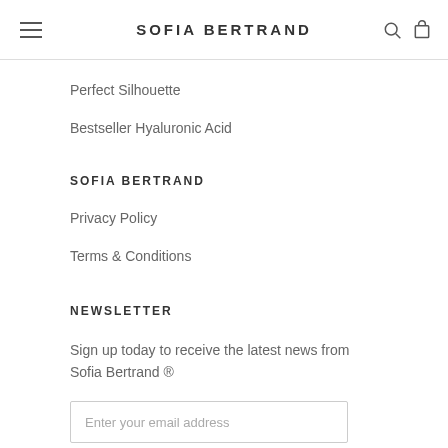SOFIA BERTRAND
Perfect Silhouette
Bestseller Hyaluronic Acid
SOFIA BERTRAND
Privacy Policy
Terms & Conditions
NEWSLETTER
Sign up today to receive the latest news from Sofia Bertrand ®
Enter your email address